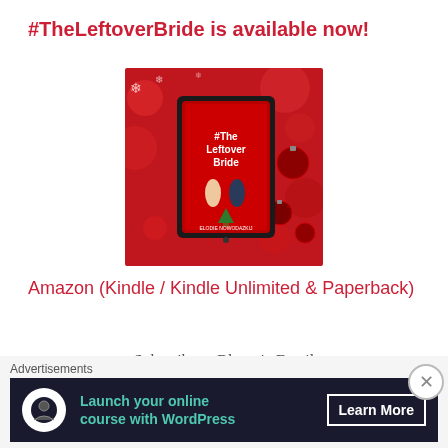#TheLeftoverBride is available now!
[Figure (photo): Book cover of #TheLeftoverBride by Elodie Nowodazkij shown on a tablet device, surrounded by red Christmas ornaments on a red bokeh background]
Amazon (Kindle / Kindle Unlimited & Paperback)
- Subscribe to Blog via Email -
Advertisements
[Figure (screenshot): Advertisement banner: dark background with teal text 'Launch your online course with WordPress' with a 'Learn More' button and a circular WordPress-like icon]